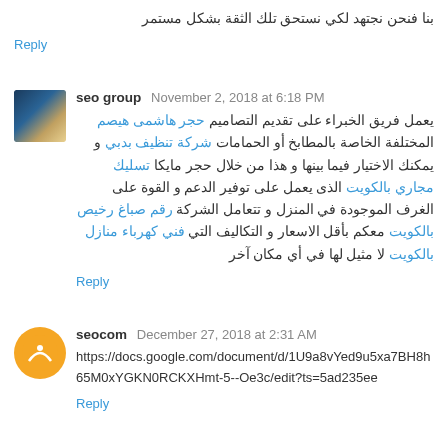بنا فنحن نجتهد لكي نستحق تلك الثقة بشكل مستمر
Reply
seo group  November 2, 2018 at 6:18 PM
يعمل فريق الخبراء على تقديم التصاميم حجر هاشمى هيصم المختلفة الخاصة بالمطابخ أو الحمامات شركة تنظيف بدبي و يمكنك الاختيار فيما بينها و هذا من خلال حجر مايكا تسليك مجاري بالكويت الذى يعمل على توفير الدعم و القوة على الغرف الموجودة في المنزل و تتعامل الشركة رقم صباغ رخيص بالكويت معكم بأقل الاسعار و التكاليف التي فني كهرباء منازل بالكويت لا مثيل لها في أي مكان آخر
Reply
seocom  December 27, 2018 at 2:31 AM
https://docs.google.com/document/d/1U9a8vYed9u5xa7BH8h65M0xYGKN0RCKXHmt-5--Oe3c/edit?ts=5ad235ee
Reply